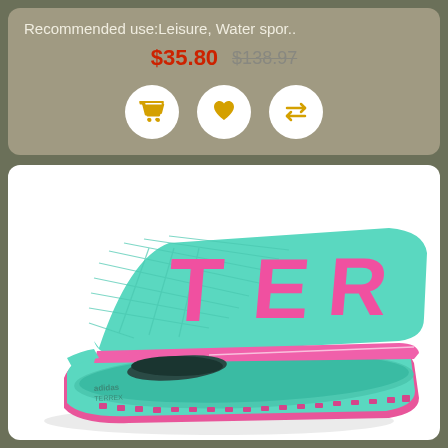Recommended use:Leisure, Water spor..
$35.80  $138.97
[Figure (photo): Adidas Terrex teal/mint slide sandal with pink letters 'TER' on strap and pink sole accents, adidas branding on the side]
[Figure (infographic): Three icon buttons: shopping cart, heart/wishlist, and compare arrows]